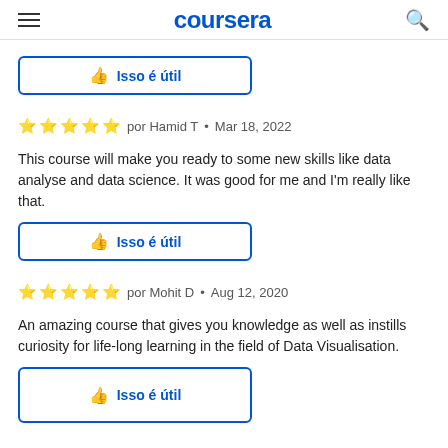coursera
Isso é útil
por Hamid T • Mar 18, 2022
This course will make you ready to some new skills like data analyse and data science. It was good for me and I'm really like that.
Isso é útil
por Mohit D • Aug 12, 2020
An amazing course that gives you knowledge as well as instills curiosity for life-long learning in the field of Data Visualisation.
Isso é útil